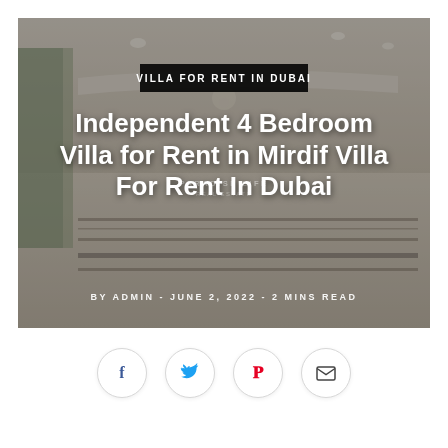[Figure (photo): Interior photo of a large empty villa room with marble floors, decorative ceiling, and large windows. Overlaid with article title and category badge.]
Independent 4 Bedroom Villa for Rent in Mirdif Villa For Rent In Dubai
BY ADMIN - JUNE 2, 2022 - 2 MINS READ
[Figure (infographic): Social share buttons: Facebook, Twitter, Pinterest, Email]